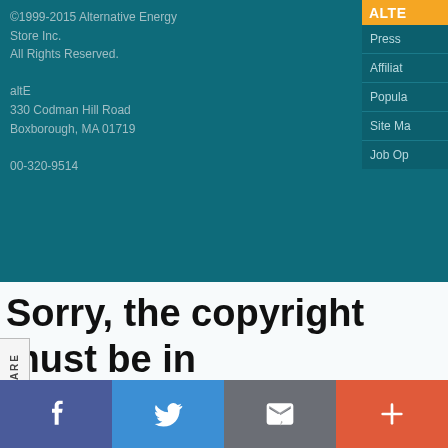©1999-2015 Alternative Energy Store Inc.
All Rights Reserved.

altE
330 Codman Hill Road
Boxborough, MA 01719

00-320-9514
Press
Affiliate
Popula
Site Ma
Job Op
Deskt
SHARE
FEEDBACK
Sorry, the copyright must be in the template.
Please notify this forum's administrator that this site is
using ILLEGAL of CMF!